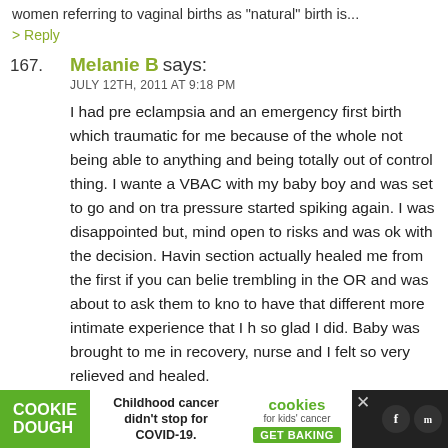women referring to vaginal births as "natural" birth is...
> Reply
167. Melanie B says: JULY 12TH, 2011 AT 9:18 PM
I had pre eclampsia and an emergency first birth which was traumatic for me because of the whole not being able to anything and being totally out of control thing. I wanted a VBAC with my baby boy and was set to go and on tra pressure started spiking again. I was disappointed but, mind open to risks and was ok with the decision. Having section actually healed me from the first if you can belie trembling in the OR and was about to ask them to kno to have that different more intimate experience that I h so glad I did. Baby was brought to me in recovery, nurse and I felt so very relieved and healed.
A baby comes out one way or another. Sometimes, we c chance. YES, you still gave birth. YES, you are a mommy
[Figure (other): Advertisement banner: Cookie Dough and cookies for kids cancer charity, Childhood cancer didn't stop for COVID-19. GET BAKING.]